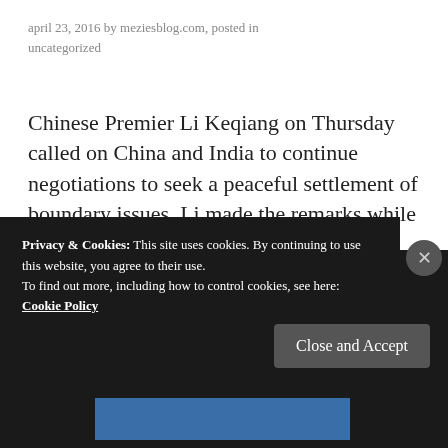april 23, 2016 by meziesblog.com, posted in uncategorized
Chinese Premier Li Keqiang on Thursday called on China and India to continue negotiations to seek a peaceful settlement of boundary issues. Li made the remarks while meeting with India's National Security Adviser Ajit Doval in Beijing. Ajit Doval attended the 19th round of talks between Chinese and Indian special representatives on boundary issues last ...
Privacy & Cookies: This site uses cookies. By continuing to use this website, you agree to their use.
To find out more, including how to control cookies, see here: Cookie Policy
Close and Accept